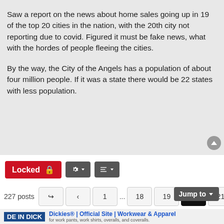Saw a report on the news about home sales going up in 19 of the top 20 cities in the nation, with the 20th city not reporting due to covid. Figured it must be fake news, what with the hordes of people fleeing the cities.
By the way, the City of the Angels has a population of about four million people. If it was a state there would be 22 states with less population.
Locked 🔒  [tool buttons]  227 posts  1 ... 18 19 20 21 22 23  Jump to
Dickies® | Official Site | Workwear & Apparel  for work pants, work shirts, overalls, and coveralls.
This site uses cookies for personalized content and analytics. By continuing to use this site, you agree to this use.  Close